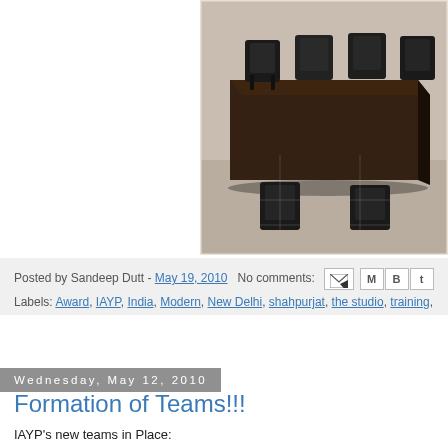[Figure (photo): Conference room with dark brown table and black office chairs on tiled floor]
Posted by Sandeep Dutt - May 19, 2010   No comments:
Labels: Award, IAYP, India, Modern, New Delhi, shahpurjat, the studio, training, w...
Wednesday, May 12, 2010
Formation of Teams!!!
IAYP's new teams in Place:
Award In Business
Award In Universities
Award In School
This is our strategy to hit our target of 10,000 participants. New offic... and Cherishing Projects!!

WOW!!